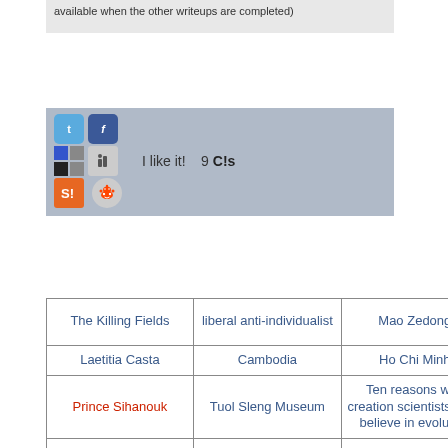available when the other writeups are completed)
[Figure (screenshot): Social sharing buttons area with Twitter, Facebook, Delicious, Digg, StumbleUpon, Reddit icons, 'I like it!' text and '9 C!s' count]
| The Killing Fields | liberal anti-individualist | Mao Zedong | the contents of Jeffrey Dahmer's apartment |
| Laetitia Casta | Cambodia | Ho Chi Minh | It's a Good Life |
| Prince Sihanouk | Tuol Sleng Museum | Ten reasons why creation scientists don't believe in evolution | Khmer |
| Laos | Civil War | Sendero | Haing S. |